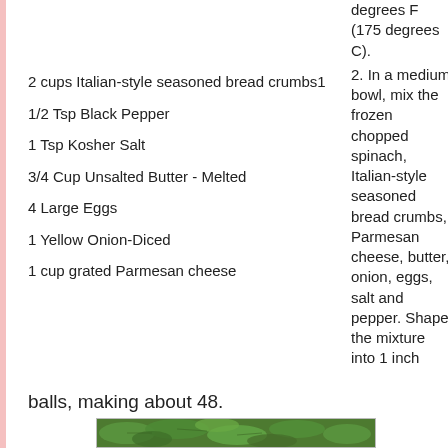2 cups Italian-style seasoned bread crumbs1
1/2 Tsp Black Pepper
1 Tsp Kosher Salt
3/4 Cup Unsalted Butter - Melted
4 Large Eggs
1 Yellow Onion-Diced
1 cup grated Parmesan cheese
degrees F (175 degrees C).
2. In a medium bowl, mix the frozen chopped spinach, Italian-style seasoned bread crumbs, Parmesan cheese, butter, onion, eggs, salt and pepper. Shape the mixture into 1 inch balls, making about 48.
[Figure (photo): Green leafy spinach leaves]